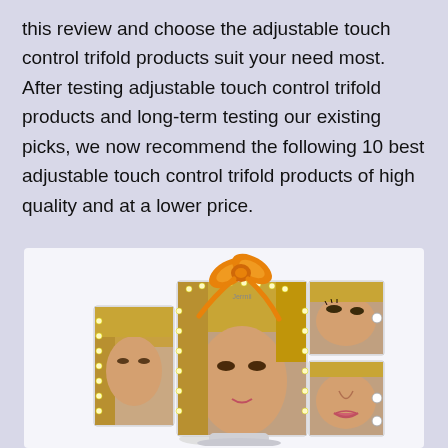this review and choose the adjustable touch control trifold products suit your need most. After testing adjustable touch control trifold products and long-term testing our existing picks, we now recommend the following 10 best adjustable touch control trifold products of high quality and at a lower price.
[Figure (photo): A trifold vanity makeup mirror with LED lights showing a woman's reflection. The mirror has three panels - a large center panel and two smaller side panels. The right side panels show close-up views of the woman's face. An orange gift bow ribbon is displayed at the top of the mirror. The mirror sits on a white stand.]